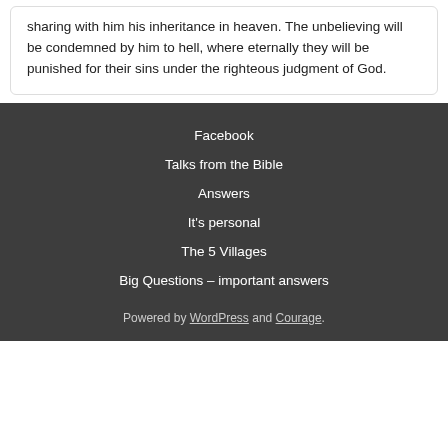sharing with him his inheritance in heaven. The unbelieving will be condemned by him to hell, where eternally they will be punished for their sins under the righteous judgment of God.
Facebook
Talks from the Bible
Answers
It's personal
The 5 Villages
Big Questions – important answers
Powered by WordPress and Courage.